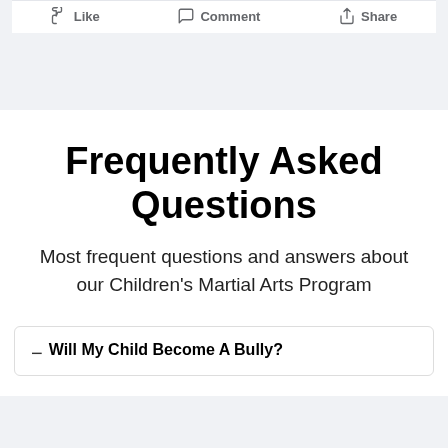[Figure (screenshot): Facebook-style action bar with Like, Comment, and Share buttons]
Frequently Asked Questions
Most frequent questions and answers about our Children's Martial Arts Program
Will My Child Become A Bully?